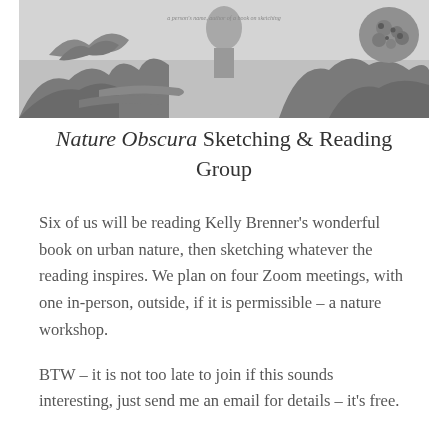[Figure (illustration): Black and white illustration of nature scene – rocky terrain, coral-like structures, organic textures, with faint text overlay reading a person's name and author of a book on sketching]
Nature Obscura Sketching & Reading Group
Six of us will be reading Kelly Brenner's wonderful book on urban nature, then sketching whatever the reading inspires. We plan on four Zoom meetings, with one in-person, outside, if it is permissible – a nature workshop.
BTW – it is not too late to join if this sounds interesting, just send me an email for details – it's free.